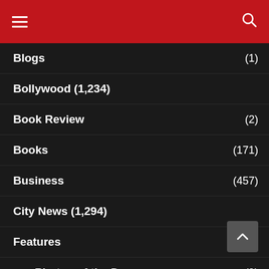Navigation header with hamburger menu and search icon
Blogs (1)
Bollywood (1,234)
Book Review (2)
Books (171)
Business (457)
City News (1,294)
Features (206)
Photos of the Day (9)
Health (167)
Healthwise (4)
Horoscopes (3)
Immigration
InVogue (122)
Lists (1)